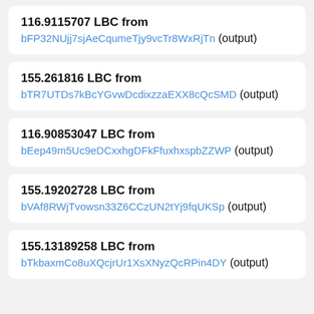116.9115707 LBC from bFP32NUjj7sjAeCqumeTjy9vcTr8WxRjTn (output)
155.261816 LBC from bTR7UTDs7kBcYGvwDcdixzzaEXX8cQcSMD (output)
116.90853047 LBC from bEep49m5Uc9eDCxxhgDFkFfuxhxspbZZWP (output)
155.19202728 LBC from bVAf8RWjTvowsn33Z6CCzUN2tYj9fqUKSp (output)
155.13189258 LBC from bTkbaxmCo8uXQcjrUr1XsXNyzQcRPin4DY (output)